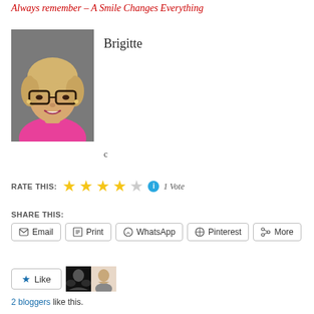Always remember – A Smile Changes Everything
[Figure (photo): Portrait photo of Brigitte, a blonde woman with glasses wearing a pink top, smiling]
Brigitte
c
RATE THIS: 1 Vote
SHARE THIS:
Email  Print  WhatsApp  Pinterest  More
Like  2 bloggers like this.